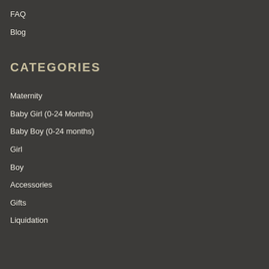FAQ
Blog
CATEGORIES
Maternity
Baby Girl (0-24 Months)
Baby Boy (0-24 months)
Girl
Boy
Accessories
Gifts
Liquidation